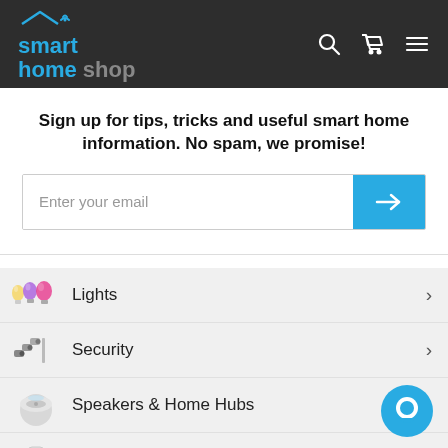[Figure (logo): Smart Home Shop logo with house/wifi icon in cyan on dark background, with search, cart, and hamburger menu icons on the right]
Sign up for tips, tricks and useful smart home information. No spam, we promise!
Enter your email
Lights
Security
Speakers & Home Hubs
Control